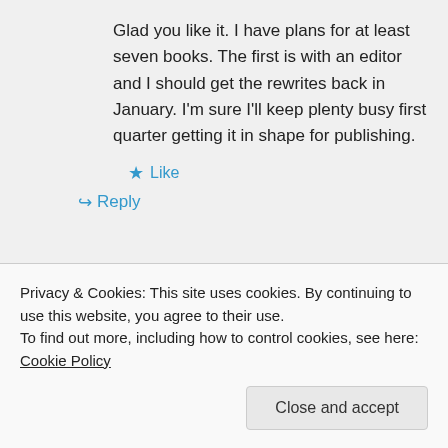Glad you like it. I have plans for at least seven books. The first is with an editor and I should get the rewrites back in January. I'm sure I'll keep plenty busy first quarter getting it in shape for publishing.
Like
Reply
Shade on December 26, 2011 at 11:37 am
Privacy & Cookies: This site uses cookies. By continuing to use this website, you agree to their use.
To find out more, including how to control cookies, see here: Cookie Policy
Close and accept